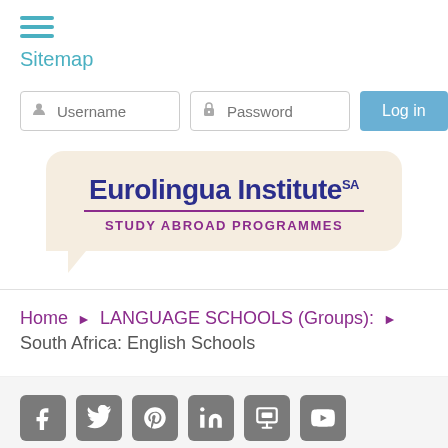☰ Sitemap
Username | Password | Log in
[Figure (logo): Eurolingua Institute SA Study Abroad Programmes logo in a speech bubble shape with beige background]
Home › LANGUAGE SCHOOLS (Groups): › South Africa: English Schools
[Figure (infographic): Social media icons row: Facebook, Twitter, Pinterest, LinkedIn, SlideShare, YouTube]